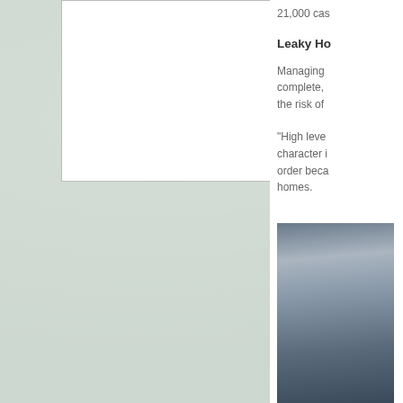[Figure (illustration): Left panel with light grey-green textured background filling most of the page]
project news, reports and in-depth analysis
21,000 cas
Leaky Ho
Managing complete, the risk of
“High leve character i order beca homes.
[Figure (photo): Partial photo visible at bottom right showing a dark metallic or architectural element]